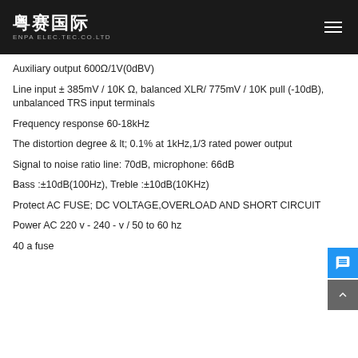粤赛国际 ENPA ELEC.TEC.CO.LTD
Auxiliary output 600Ω/1V(0dBV)
Line input ± 385mV / 10K Ω, balanced XLR/ 775mV / 10K pull (-10dB), unbalanced TRS input terminals
Frequency response 60-18kHz
The distortion degree & lt; 0.1% at 1kHz,1/3 rated power output
Signal to noise ratio line: 70dB, microphone: 66dB
Bass :±10dB(100Hz), Treble :±10dB(10KHz)
Protect AC FUSE; DC VOLTAGE,OVERLOAD AND SHORT CIRCUIT
Power AC 220 v - 240 - v / 50 to 60 hz
40 a fuse